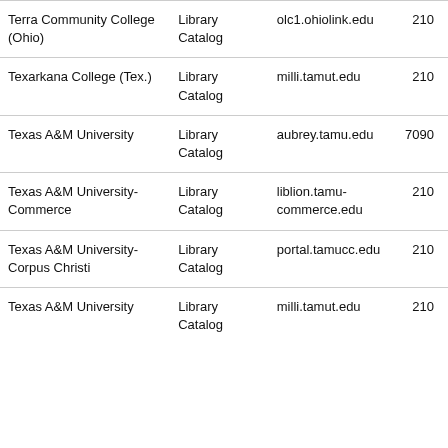| Institution | Type | URL | Count |
| --- | --- | --- | --- |
| Terra Community College (Ohio) | Library Catalog | olc1.ohiolink.edu | 210 |
| Texarkana College (Tex.) | Library Catalog | milli.tamut.edu | 210 |
| Texas A&M University | Library Catalog | aubrey.tamu.edu | 7090 |
| Texas A&M University-Commerce | Library Catalog | liblion.tamu-commerce.edu | 210 |
| Texas A&M University-Corpus Christi | Library Catalog | portal.tamucc.edu | 210 |
| Texas A&M University | Library Catalog | milli.tamut.edu | 210 |